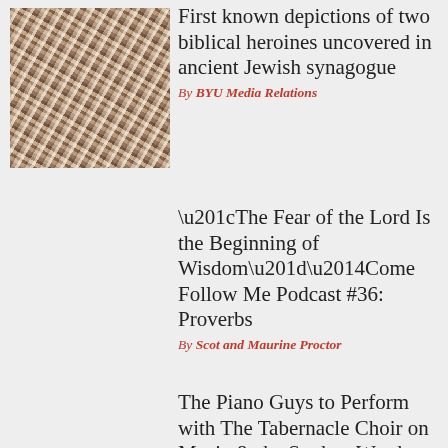[Figure (photo): Mosaic image of ancient biblical heroine from Jewish synagogue]
First known depictions of two biblical heroines uncovered in ancient Jewish synagogue
By BYU Media Relations
“The Fear of the Lord Is the Beginning of Wisdom”—Come Follow Me Podcast #36: Proverbs
By Scot and Maurine Proctor
The Piano Guys to Perform with The Tabernacle Choir on Music & the Spoken Word
By Meridian Magazine
Your Hardest Family Question: How can I